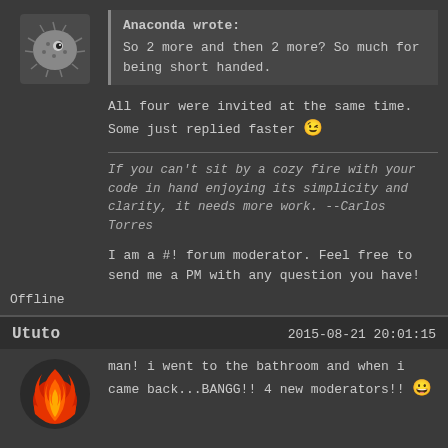[Figure (illustration): Forum avatar: pixel art pufferfish/blowfish character on dark background]
Anaconda wrote:
So 2 more and then 2 more? So much for being short handed.
All four were invited at the same time. Some just replied faster 😉
If you can't sit by a cozy fire with your code in hand enjoying its simplicity and clarity, it needs more work. --Carlos Torres
I am a #! forum moderator. Feel free to send me a PM with any question you have!
Offline
Ututo
2015-08-21 20:01:15
[Figure (logo): Forum avatar: red flame/fire logo on dark background circle]
man! i went to the bathroom and when i came back...BANGG!! 4 new moderators!! 😀